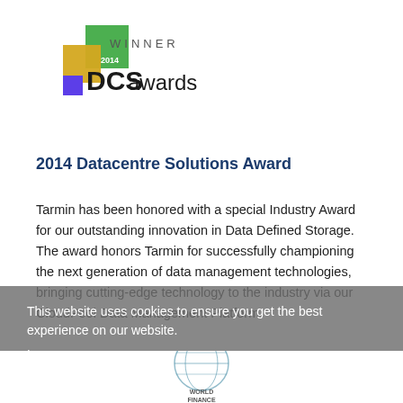[Figure (logo): DCS Awards 2014 Winner logo — green square, gold square, purple square with 'WINNER' text and 'DCS awards' text]
2014 Datacentre Solutions Award
Tarmin has been honored with a special Industry Award for our outstanding innovation in Data Defined Storage. The award honors Tarmin for successfully championing the next generation of data management technologies, bringing cutting-edge technology to the industry via our CloudPool Data Management Platform.
This website uses cookies to ensure you get the best experience on our website.
Learn more
Got it!
[Figure (logo): World Finance 100 logo — partially visible circular globe design with text 'WORLD FINANCE 100']